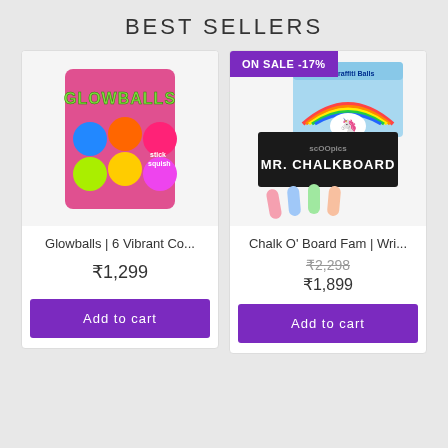BEST SELLERS
[Figure (photo): Glowballs product – 6 vibrant colored sticky balls in pink packaging]
Glowballs | 6 Vibrant Co...
₹1,299
Add to cart
[Figure (photo): Chalk O' Board product – chalkboard writing kit with colorful chalk pieces]
ON SALE -17%
Chalk O' Board Fam | Wri...
₹2,298 ₹1,899
Add to cart